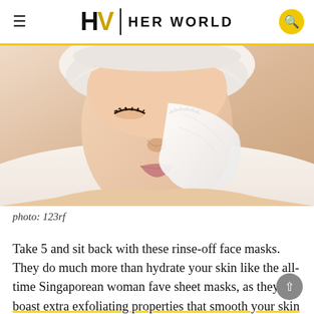HW / HER WORLD
[Figure (photo): Woman with eyes closed wearing a white towel on her head, with a white clay/cream face mask partially applied to her cheek and face, lying down in a spa setting]
photo: 123rf
Take 5 and sit back with these rinse-off face masks. They do much more than hydrate your skin like the all-time Singaporean woman fave sheet masks, as they boast extra exfoliating properties that smooth your skin and give you more radiance.